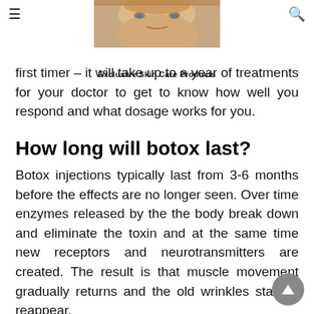Exclusive Skin Care Products
first timer – it will take up to a year of treatments for your doctor to get to know how well you respond and what dosage works for you.
How long will botox last?
Botox injections typically last from 3-6 months before the effects are no longer seen. Over time enzymes released by the the body break down and eliminate the toxin and at the same time new receptors and neurotransmitters are created. The result is that muscle movement gradually returns and the old wrinkles start to reappear.